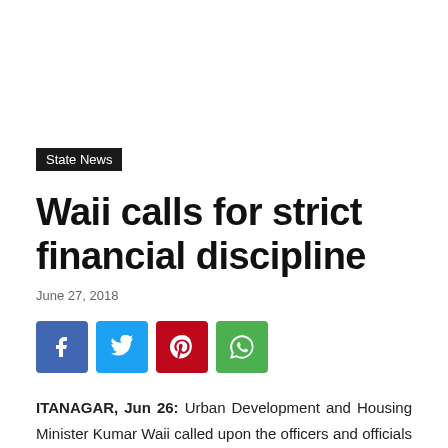State News
Waii calls for strict financial discipline
June 27, 2018
[Figure (infographic): Four social media share buttons: Facebook (blue), Twitter (light blue), Pinterest (red), WhatsApp (green)]
ITANAGAR, Jun 26: Urban Development and Housing Minister Kumar Waii called upon the officers and officials of his department to maintain strict financial discipline, quality and to adhere to the target as fixed for completion of